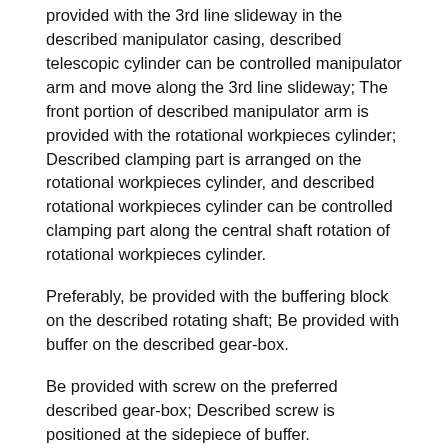provided with the 3rd line slideway in the described manipulator casing, described telescopic cylinder can be controlled manipulator arm and move along the 3rd line slideway; The front portion of described manipulator arm is provided with the rotational workpieces cylinder; Described clamping part is arranged on the rotational workpieces cylinder, and described rotational workpieces cylinder can be controlled clamping part along the central shaft rotation of rotational workpieces cylinder.
Preferably, be provided with the buffering block on the described rotating shaft; Be provided with buffer on the described gear-box.
Be provided with screw on the preferred described gear-box; Described screw is positioned at the sidepiece of buffer.
Preferably, be provided with ball screw on the described framework, described ball screw passes and moves horizontally piece; Described horizontal servo motor links to each other with ball screw, and can drive the ball screw rotation; When ball screw rotated, driving moved horizontally piece and moves along the first line slideway.